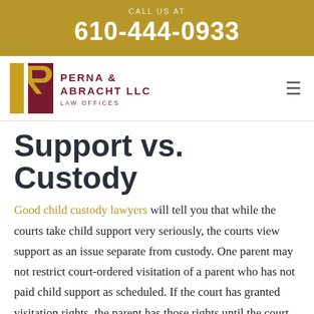CALL US AT
610-444-0933
[Figure (logo): Perna & Abracht LLC Law Offices logo with stylized P and R letters in dark red and gold]
Support vs. Custody
Good child custody lawyers will tell you that while the courts take child support very seriously, the courts view support as an issue separate from custody. One parent may not restrict court-ordered visitation of a parent who has not paid child support as scheduled. If the court has granted visitation rights, the parent has those rights until the court would restrict or change them. Courts